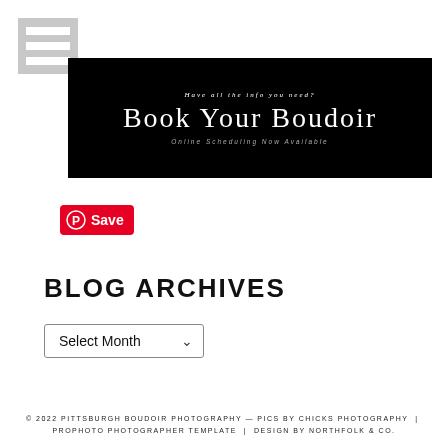[Figure (other): Hamburger menu icon with three white horizontal bars on grey background]
[Figure (other): Black banner advertisement reading 'Have all the info you need? Book Your Boudoir — Online Scheduling Now Available']
[Figure (other): Pinterest Save button — red rounded rectangle with Pinterest P logo and white 'Save' text]
BLOG ARCHIVES
Select Month
© 2022 PITTSBURGH BOUDOIR PHOTOGRAPHY — PICS BY CHICKS PHOTOGRAPHY | PROPHOTO PHOTOGRAPHER TEMPLATE | DESIGN BY NORTHFOLK & CO.